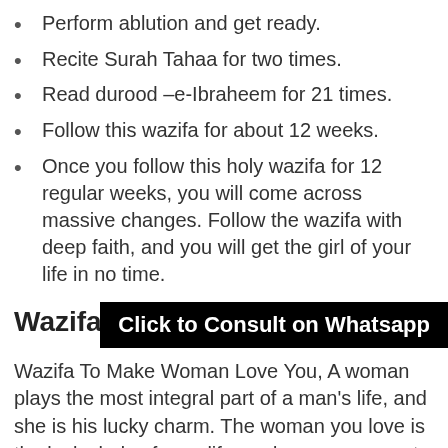Perform ablution and get ready.
Recite Surah Tahaa for two times.
Read durood –e-Ibraheem for 21 times.
Follow this wazifa for about 12 weeks.
Once you follow this holy wazifa for 12 regular weeks, you will come across massive changes. Follow the wazifa with deep faith, and you will get the girl of your life in no time.
Wazifa To Make W
[Figure (other): Black banner button with white bold text: Click to Consult on Whatsapp]
Wazifa To Make Woman Love You, A woman plays the most integral part of a man's life, and she is his lucky charm. The woman you love is the lucky lady of your life, and you never want to lose her. Relationships are not always happy, but there are lots of issues that we come across every day. We tend to have arguments and conflicts, but the most